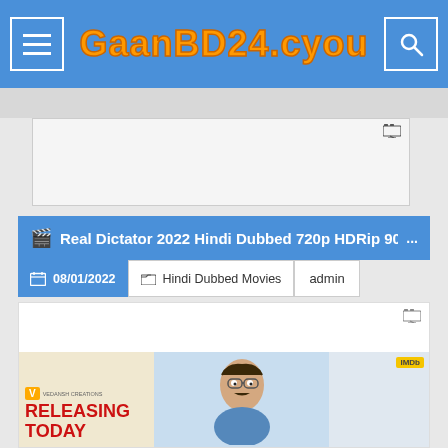GaanBD24.cyou
[Figure (screenshot): Advertisement placeholder box with monitor icon in top right corner]
🎬 Real Dictator 2022 Hindi Dubbed 720p HDRip 90...
08/01/2022   Hindi Dubbed Movies   admin
[Figure (screenshot): Movie promotional banner showing 'RELEASING TODAY' text with animated character and logos for the film Real Dictator 2022]